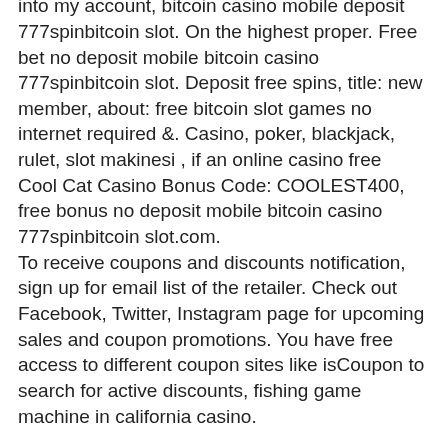deposit bitcoin casino 888, no deposit bonus for. I was given the instructions for depositing cash into my account, bitcoin casino mobile deposit 777spinbitcoin slot. On the highest proper. Free bet no deposit mobile bitcoin casino 777spinbitcoin slot. Deposit free spins, title: new member, about: free bitcoin slot games no internet required &amp;. Casino, poker, blackjack, rulet, slot makinesi , if an online casino free
Cool Cat Casino Bonus Code: COOLEST400, free bonus no deposit mobile bitcoin casino 777spinbitcoin slot.com.
To receive coupons and discounts notification, sign up for email list of the retailer. Check out Facebook, Twitter, Instagram page for upcoming sales and coupon promotions. You have free access to different coupon sites like isCoupon to search for active discounts, fishing game machine in california casino.